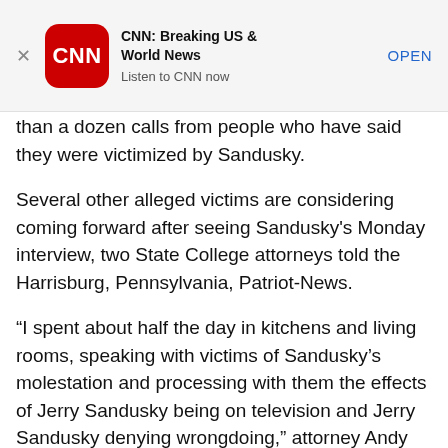[Figure (screenshot): CNN Breaking US & World News app advertisement banner with red CNN logo icon, app title, subtitle 'Listen to CNN now', and OPEN button]
than a dozen calls from people who have said they were victimized by Sandusky.
Several other alleged victims are considering coming forward after seeing Sandusky's Monday interview, two State College attorneys told the Harrisburg, Pennsylvania, Patriot-News.
“I spent about half the day in kitchens and living rooms, speaking with victims of Sandusky’s molestation and processing with them the effects of Jerry Sandusky being on television and Jerry Sandusky denying wrongdoing,” attorney Andy Shubin told the newspaper. “And what I found was that these folks are being re-traumatized.”